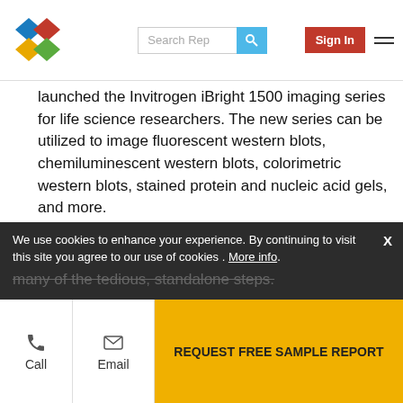Search Rep | Sign In
launched the Invitrogen iBright 1500 imaging series for life science researchers. The new series can be utilized to image fluorescent western blots, chemiluminescent western blots, colorimetric western blots, stained protein and nucleic acid gels, and more.
In July 2018, Bio-Techne Corporation (US) launched Jess, a member of the ProteinSimple-branded Simple Western family. This system simplifies protein expression analysis and speeds up time to result. Jess automates both the protein separation and immunodetection elements characteristic of many of the tedious, standalone steps.
We use cookies to enhance your experience. By continuing to visit this site you agree to our use of cookies . More info.
Call | Email | REQUEST FREE SAMPLE REPORT